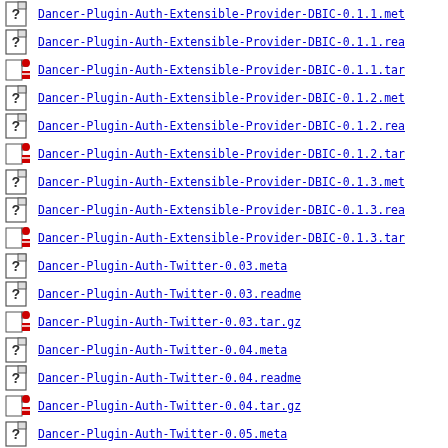Dancer-Plugin-Auth-Extensible-Provider-DBIC-0.1.1.met
Dancer-Plugin-Auth-Extensible-Provider-DBIC-0.1.1.rea
Dancer-Plugin-Auth-Extensible-Provider-DBIC-0.1.1.tar
Dancer-Plugin-Auth-Extensible-Provider-DBIC-0.1.2.met
Dancer-Plugin-Auth-Extensible-Provider-DBIC-0.1.2.rea
Dancer-Plugin-Auth-Extensible-Provider-DBIC-0.1.2.tar
Dancer-Plugin-Auth-Extensible-Provider-DBIC-0.1.3.met
Dancer-Plugin-Auth-Extensible-Provider-DBIC-0.1.3.rea
Dancer-Plugin-Auth-Extensible-Provider-DBIC-0.1.3.tar
Dancer-Plugin-Auth-Twitter-0.03.meta
Dancer-Plugin-Auth-Twitter-0.03.readme
Dancer-Plugin-Auth-Twitter-0.03.tar.gz
Dancer-Plugin-Auth-Twitter-0.04.meta
Dancer-Plugin-Auth-Twitter-0.04.readme
Dancer-Plugin-Auth-Twitter-0.04.tar.gz
Dancer-Plugin-Auth-Twitter-0.05.meta
Dancer-Plugin-Auth-Twitter-0.05.readme